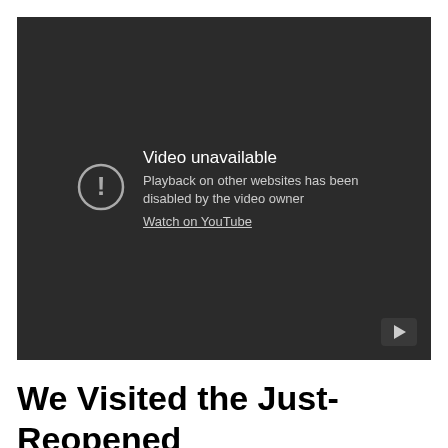[Figure (screenshot): YouTube embedded video player showing an error state: 'Video unavailable - Playback on other websites has been disabled by the video owner' with a 'Watch on YouTube' link and a play button icon in the bottom right corner.]
We Visited the Just-Reopened